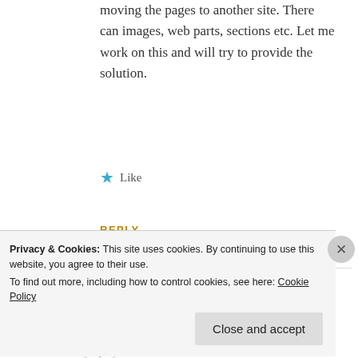moving the pages to another site. There can images, web parts, sections etc. Let me work on this and will try to provide the solution.
★ Like
REPLY
[Figure (logo): Avatar icon for commenter Kiran — geometric mosaic pattern in maroon/dark red]
Kiran
Privacy & Cookies: This site uses cookies. By continuing to use this website, you agree to their use.
To find out more, including how to control cookies, see here: Cookie Policy
Close and accept